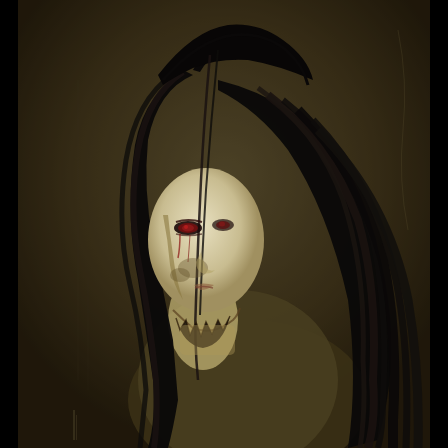[Figure (illustration): Dark digital illustration of a ghostly female figure with long straight black hair partially covering her pale, gaunt face. The figure is bent forward with her hair hanging down. Her face shows reddish eyes, dark markings or wounds, and a disturbing expression. The lower portion of her face appears torn or damaged, revealing a skeletal or decayed jaw. The background is a dark olive-brown textured surface. The overall style is horror/supernatural art inspired by Japanese ghost imagery.]